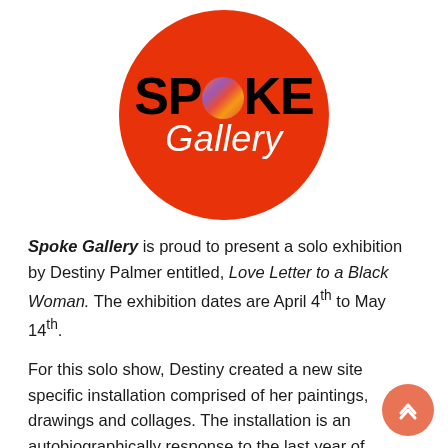[Figure (logo): Spoke Gallery logo: large red circle with bold black text 'SPOKE' (with a colorful circular 'O' illustration) and white italic 'Gallery' text below]
Spoke Gallery is proud to present a solo exhibition by Destiny Palmer entitled, Love Letter to a Black Woman. The exhibition dates are April 4th to May 14th.
For this solo show, Destiny created a new site specific installation comprised of her paintings, drawings and collages. The installation is an autobiographically response to the last year of Destiny's life. The new piece is part of her body of work called F U Shine.